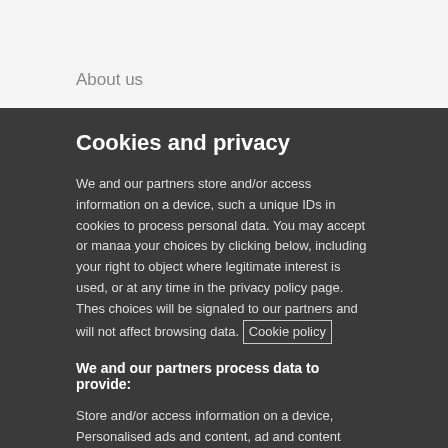About us
Cookies and privacy
We and our partners store and/or access information on a device, such as unique IDs in cookies to process personal data. You may accept or manage your choices by clicking below, including your right to object where legitimate interest is used, or at any time in the privacy policy page. These choices will be signaled to our partners and will not affect browsing data. Cookie policy
We and our partners process data to provide:
Store and/or access information on a device, Personalised ads and content, ad and content measurement, audience insights and product development, Use precise geolocation data, Actively scan device characteristics for identification
List of Partners (vendors)
I Accept